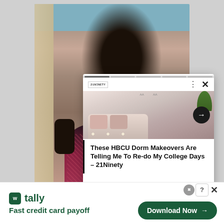[Figure (screenshot): Screenshot of a web browser showing a 21Ninety article with a popup card overlay about HBCU Dorm Makeovers, and a Tally advertisement banner at the bottom]
These HBCU Dorm Makeovers Are Telling Me To Re-do My College Days - 21Ninety
tally
Fast credit card payoff
Download Now →